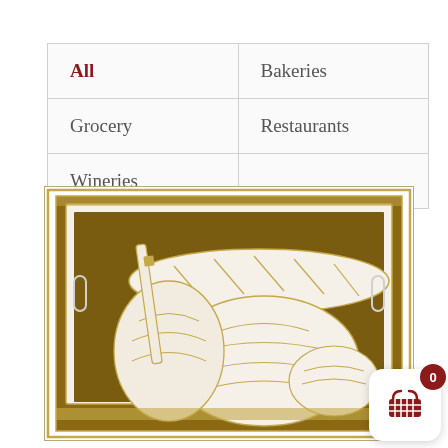| All | Bakeries |
| Grocery | Restaurants |
| Wineries |  |
[Figure (illustration): Illustration of a bakery oven or bread box with loaves of bread and baked goods visible inside, drawn in gold/tan line art style on a warm brown background]